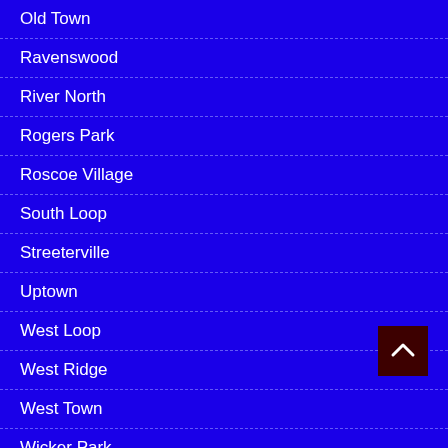Old Town
Ravenswood
River North
Rogers Park
Roscoe Village
South Loop
Streeterville
Uptown
West Loop
West Ridge
West Town
Wicker Park
Wrigleyville
ABOUT CWBCHICAGO